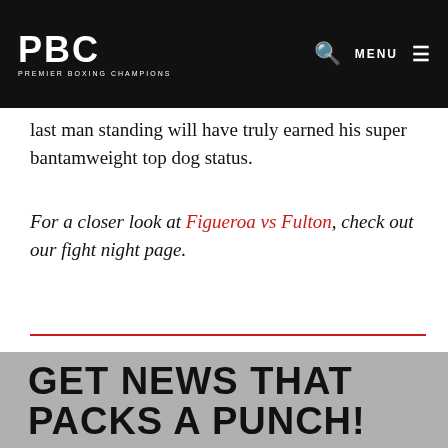PBC PREMIER BOXING CHAMPIONS
last man standing will have truly earned his super bantamweight top dog status.
For a closer look at Figueroa vs Fulton, check out our fight night page.
TOPICS
FIGUEROA VS FULTON
GET NEWS THAT PACKS A PUNCH!